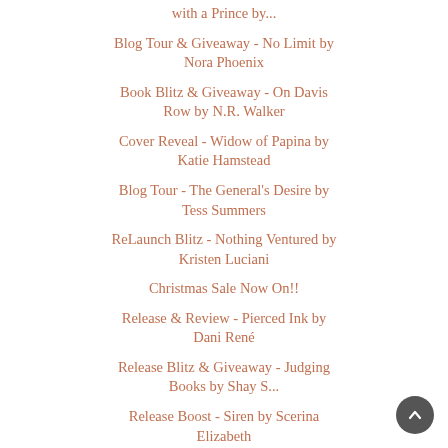with a Prince by...
Blog Tour & Giveaway - No Limit by Nora Phoenix
Book Blitz & Giveaway - On Davis Row by N.R. Walker
Cover Reveal - Widow of Papina by Katie Hamstead
Blog Tour - The General's Desire by Tess Summers
ReLaunch Blitz - Nothing Ventured by Kristen Luciani
Christmas Sale Now On!!
Release & Review - Pierced Ink by Dani René
Release Blitz & Giveaway - Judging Books by Shay S...
Release Boost - Siren by Scerina Elizabeth
Audio Release Tour & Giveaway - Strip Me Bare by ...
Release Blitz - Millions by Pepper...